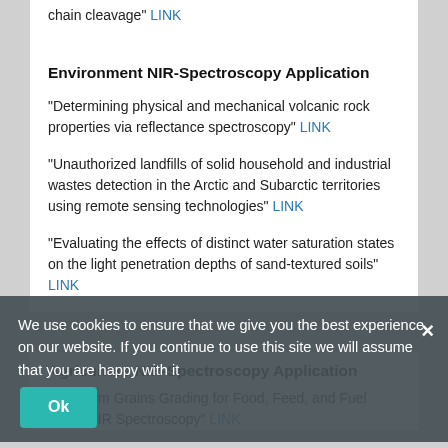chain cleavage" LINK
Environment NIR-Spectroscopy Application
"Determining physical and mechanical volcanic rock properties via reflectance spectroscopy" LINK
"Unauthorized landfills of solid household and industrial wastes detection in the Arctic and Subarctic territories using remote sensing technologies" LINK
"Evaluating the effects of distinct water saturation states on the light penetration depths of sand-textured soils" LINK
We use cookies to ensure that we give you the best experience on our website. If you continue to use this site we will assume that you are happy with it
Agriculture NIR-Spectroscopy Application
"Sorghum Grains Grading for Food, Feed, and Fuel Using NIR Spectroscopy" LINK